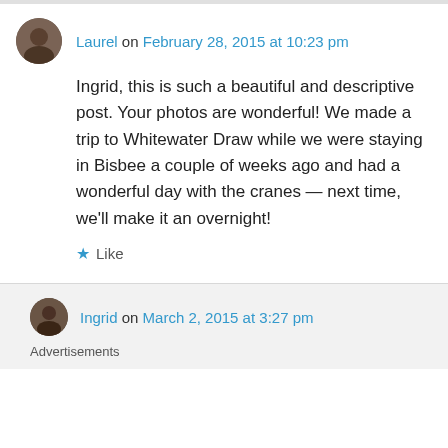Laurel on February 28, 2015 at 10:23 pm
Ingrid, this is such a beautiful and descriptive post. Your photos are wonderful! We made a trip to Whitewater Draw while we were staying in Bisbee a couple of weeks ago and had a wonderful day with the cranes — next time, we'll make it an overnight!
★ Like
Ingrid on March 2, 2015 at 3:27 pm
Advertisements